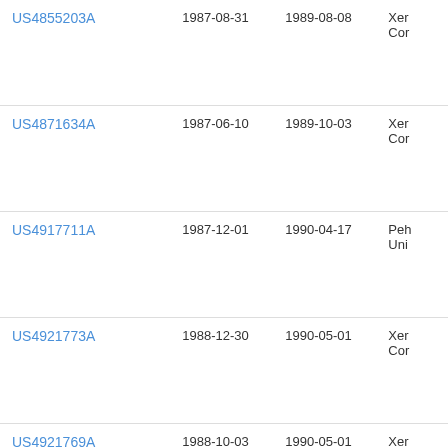| Patent | Filed | Published | Assignee |
| --- | --- | --- | --- |
| US4855203A | 1987-08-31 | 1989-08-08 | Xer
Cor |
| US4871634A | 1987-06-10 | 1989-10-03 | Xer
Cor |
| US4917711A | 1987-12-01 | 1990-04-17 | Peh
Uni |
| US4921773A | 1988-12-30 | 1990-05-01 | Xer
Cor |
| US4921769A | 1988-10-03 | 1990-05-01 | Xer
Cor |